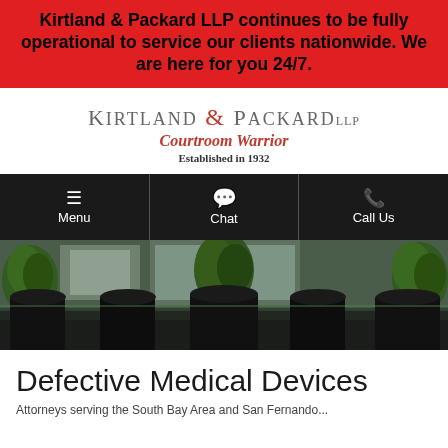Kirtland & Packard LLP continues to be fully operational to service our clients nationwide. We are here for you 24/7.
[Figure (logo): Kirtland & Packard LLP logo with tagline 'Courtroom Warrior' and 'Established in 1932']
[Figure (screenshot): Navigation bar with Menu, Chat, and Call Us options on dark background]
[Figure (photo): Office conference room photo showing chairs, table and plants in background]
Defective Medical Devices
Attorneys serving the South Bay Area and San Fernando...